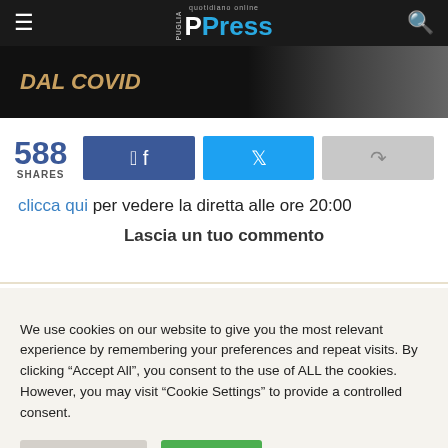PPress - quotidiano online
[Figure (photo): Banner image with text DAL COVID on dark background]
588 SHARES
clicca qui per vedere la diretta alle ore 20:00
Lascia un tuo commento
We use cookies on our website to give you the most relevant experience by remembering your preferences and repeat visits. By clicking “Accept All”, you consent to the use of ALL the cookies. However, you may visit "Cookie Settings" to provide a controlled consent.
Cookie Settings  Accept All